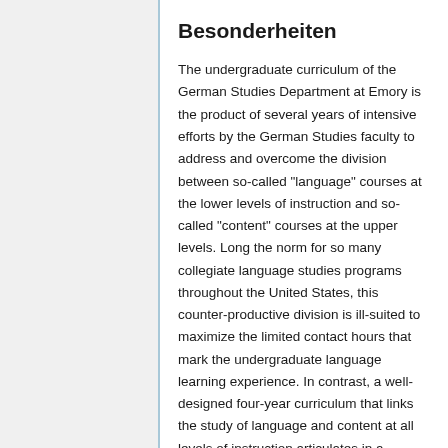Besonderheiten
The undergraduate curriculum of the German Studies Department at Emory is the product of several years of intensive efforts by the German Studies faculty to address and overcome the division between so-called "language" courses at the lower levels of instruction and so-called "content" courses at the upper levels. Long the norm for so many collegiate language studies programs throughout the United States, this counter-productive division is ill-suited to maximize the limited contact hours that mark the undergraduate language learning experience. In contrast, a well-designed four-year curriculum that links the study of language and content at all levels of instruction articulates in a